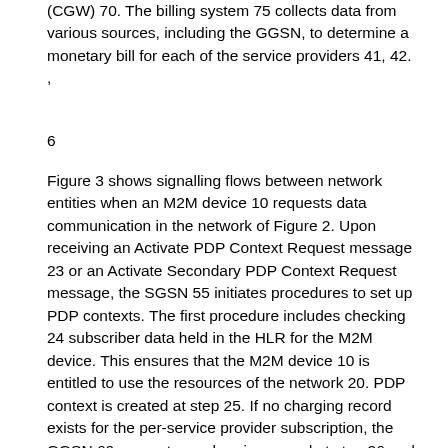(CGW) 70. The billing system 75 collects data from various sources, including the GGSN, to determine a monetary bill for each of the service providers 41, 42. ,
6
Figure 3 shows signalling flows between network entities when an M2M device 10 requests data communication in the network of Figure 2. Upon receiving an Activate PDP Context Request message 23 or an Activate Secondary PDP Context Request message, the SGSN 55 initiates procedures to set up PDP contexts. The first procedure includes checking 24 subscriber data held in the HLR for the M2M device. This ensures that the M2M device 10 is entitled to use the resources of the network 20. PDP context is created at step 25. If no charging record exists for the per-service provider subscription, the GGSN 60 generates a charging record at step 26 and records usage information. When a per-service or per-subscription limit in a charging record is reached, the charging record is issued or published at step 27. The term “charging record” means a record that collects information that will be used to charge the subscriber. The subscriber in this case is the M2M service provider. The charging record collects usage